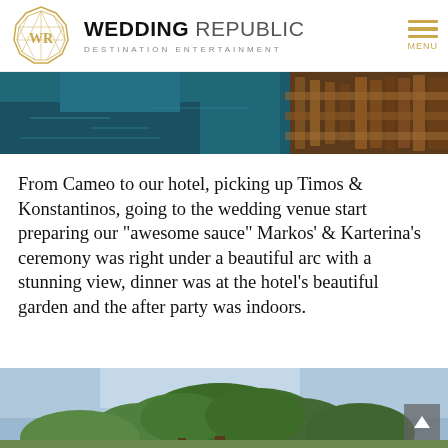WEDDING REPUBLIC · DESTINATION ENTERTAINMENT
[Figure (photo): Aerial/water view showing a dock or boat with warm wooden tones over blue-green water]
From Cameo to our hotel, picking up Timos & Konstantinos, going to the wedding venue start preparing our "awesome sauce" Markos' & Karterina's ceremony was right under a beautiful arc with a stunning view, dinner was at the hotel's beautiful garden and the after party was indoors.
[Figure (photo): Outdoor scene showing green trees against a blue sky, likely wedding venue garden]